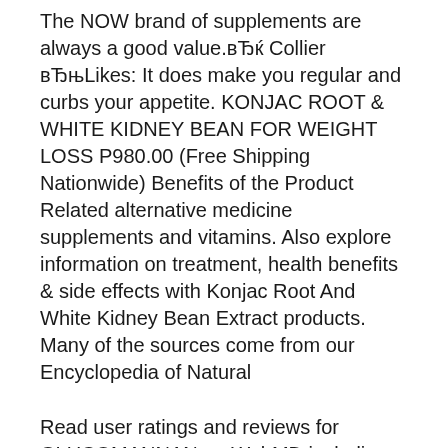The NOW brand of supplements are always a good value.вЂќ Collier вЂњLikes: It does make you regular and curbs your appetite. KONJAC ROOT & WHITE KIDNEY BEAN FOR WEIGHT LOSS P980.00 (Free Shipping Nationwide) Benefits of the Product Related alternative medicine supplements and vitamins. Also explore information on treatment, health benefits & side effects with Konjac Root And White Kidney Bean Extract products. Many of the sources come from our Encyclopedia of Natural
Read user ratings and reviews for GLUCOMANNAN on WebMD including side effects and interactions, treatment